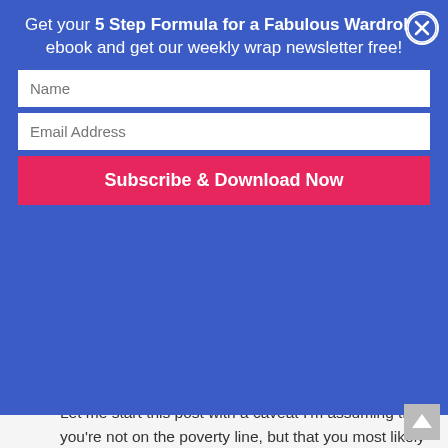Get your 5 Step Formula for a Fabulous Wardrobe ebook and get our weekly wrap newsletter free!
Let me start this post with a caveat I'm assuming that you're not on the poverty line, but that you most likely have a clothes budget that isn't extravagant by any means. I often hear from people that they don't have the kind of money you need (in their minds) to spend on clothes to...
[Figure (photo): A woman with blonde hair smiling outdoors in front of green foliage]